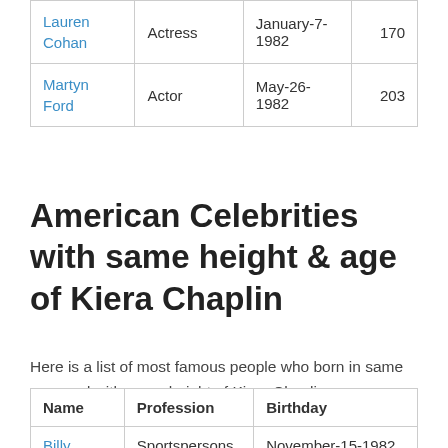| Name | Profession | Birthday | Height |
| --- | --- | --- | --- |
| Lauren Cohan | Actress | January-7-1982 | 170 |
| Martyn Ford | Actor | May-26-1982 | 203 |
American Celebrities with same height & age of Kiera Chaplin
Here is a list of most famous people who born in same year and with same height of Kiera Chaplin.
| Name | Profession | Birthday |
| --- | --- | --- |
| Billy Wingrove | Sportspersons | November-15-1982 |